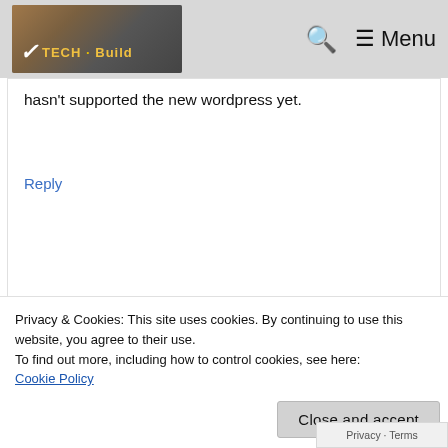Tech [logo] — Search | Menu
hasn't supported the new wordpress yet.
Reply
Brian Rogel
August 30, 2010 at 17:45
Privacy & Cookies: This site uses cookies. By continuing to use this website, you agree to their use.
To find out more, including how to control cookies, see here:
Cookie Policy
Close and accept
Privacy · Terms